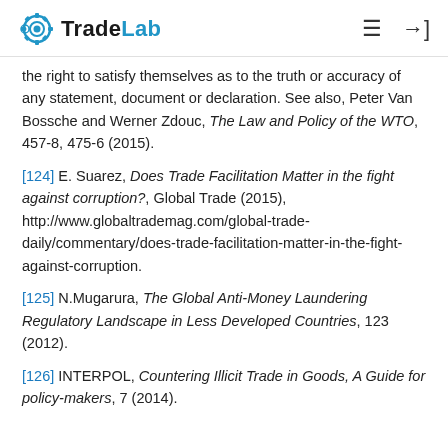TradeLab [logo with navigation icons]
the right to satisfy themselves as to the truth or accuracy of any statement, document or declaration. See also, Peter Van Bossche and Werner Zdouc, The Law and Policy of the WTO, 457-8, 475-6 (2015).
[124] E. Suarez, Does Trade Facilitation Matter in the fight against corruption?, Global Trade (2015), http://www.globaltrademag.com/global-trade-daily/commentary/does-trade-facilitation-matter-in-the-fight-against-corruption.
[125] N.Mugarura, The Global Anti-Money Laundering Regulatory Landscape in Less Developed Countries, 123 (2012).
[126] INTERPOL, Countering Illicit Trade in Goods, A Guide for policy-makers, 7 (2014).